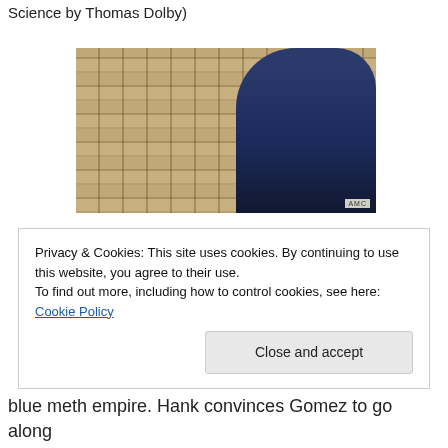Science by Thomas Dolby)
[Figure (photo): A person in a dark blue jacket leaning against a large wall of stacked bundles of US dollar bills. An AMC watermark is visible in the lower right corner.]
Privacy & Cookies: This site uses cookies. By continuing to use this website, you agree to their use.
To find out more, including how to control cookies, see here: Cookie Policy
Close and accept
blue meth empire. Hank convinces Gomez to go along